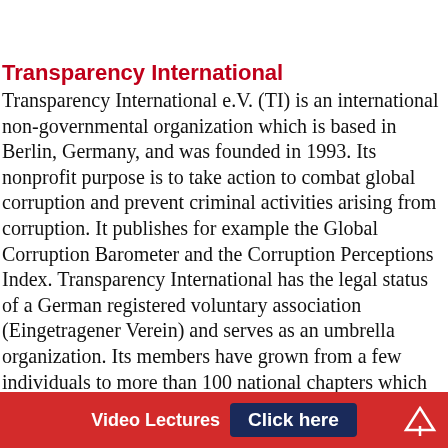Transparency International
Transparency International e.V. (TI) is an international non-governmental organization which is based in Berlin, Germany, and was founded in 1993. Its nonprofit purpose is to take action to combat global corruption and prevent criminal activities arising from corruption. It publishes for example the Global Corruption Barometer and the Corruption Perceptions Index. Transparency International has the legal status of a German registered voluntary association (Eingetragener Verein) and serves as an umbrella organization. Its members have grown from a few individuals to more than 100 national chapters which engage in fighting corruption in their home countries. TI confirmed the
Video Lectures  Click here